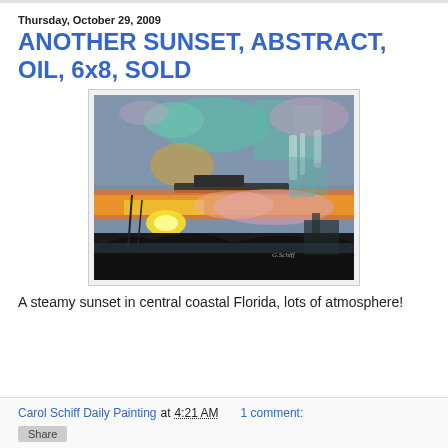Thursday, October 29, 2009
ANOTHER SUNSET, ABSTRACT, OIL, 6x8, SOLD
[Figure (photo): Abstract oil painting of a steamy sunset in central coastal Florida. The painting shows deep blue-grey sky with teal and pink accents, a vivid orange and yellow sunset glow on the horizon, dark silhouettes of structures in the foreground, and the artist's signature in the lower right corner.]
A steamy sunset in central coastal Florida, lots of atmosphere!
Carol Schiff Daily Painting at 4:21 AM   1 comment: